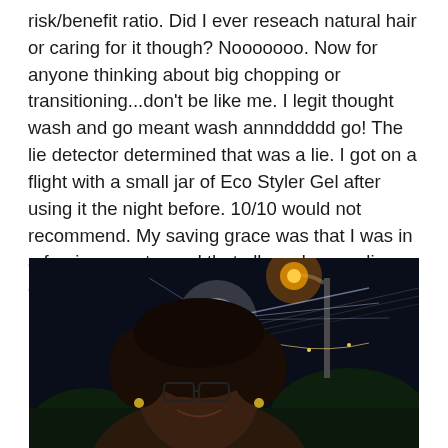risk/benefit ratio. Did I ever reseach natural hair or caring for it though? Nooooooo. Now for anyone thinking about big chopping or transitioning...don't be like me. I legit thought wash and go meant wash annnddddd go! The lie detector determined that was a lie. I got on a flight with a small jar of Eco Styler Gel after using it the night before. 10/10 would not recommend. My saving grace was that I was in a foreign country and that allowed me a sliver of anonymity.
[Figure (photo): A woman with natural hair and glasses smiling at the camera at night outdoors, with a bright street lamp and decorative lights visible in the background against a dark night sky.]